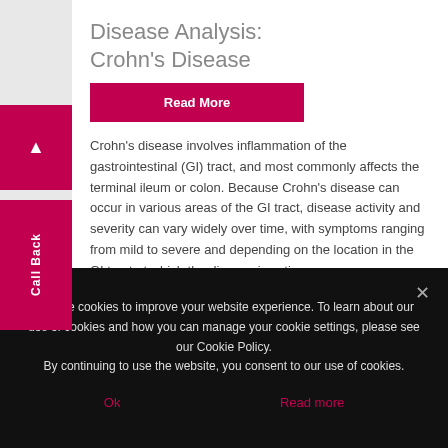Disease Analysis: Crohn's Disease
Read More
Crohn's disease involves inflammation of the gastrointestinal (GI) tract, and most commonly affects the terminal ileum or colon. Because Crohn's disease can occur in various areas of the GI tract, disease activity and severity can vary widely over time, with symptoms ranging from mild to severe and depending on the location in the GI tract at which the disease is active.
July 29, 2022
We use cookies to improve your website experience. To learn about our use of cookies and how you can manage your cookie settings, please see our Cookie Policy.
By continuing to use the website, you consent to our use of cookies.
Ok
Read more